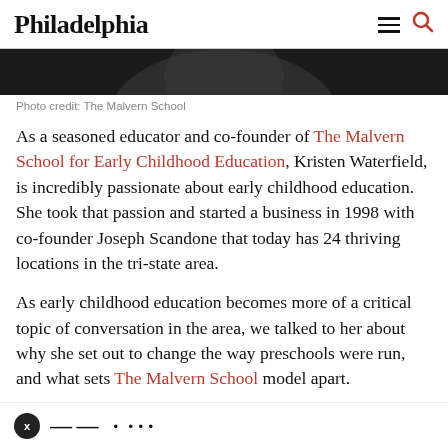Philadelphia
[Figure (photo): Black and white partial photo of a person, cropped at top of page]
Photo credit: The Malvern School
As a seasoned educator and co-founder of The Malvern School for Early Childhood Education, Kristen Waterfield, is incredibly passionate about early childhood education. She took that passion and started a business in 1998 with co-founder Joseph Scandone that today has 24 thriving locations in the tri-state area.
As early childhood education becomes more of a critical topic of conversation in the area, we talked to her about why she set out to change the way preschools were run, and what sets The Malvern School model apart.
x [partially visible bottom bar text]